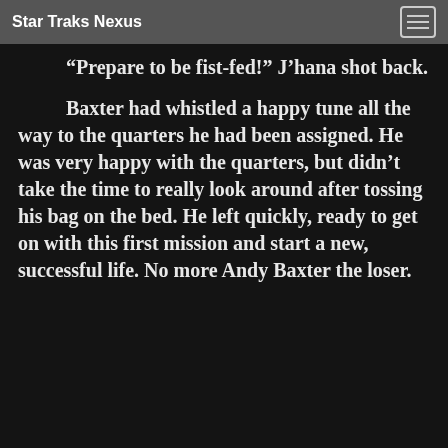Star Traks Nexus
“Prepare to be fist-fed!” J’hana shot back.
Baxter had whistled a happy tune all the way to the quarters he had been assigned. He was very happy with the quarters, but didn’t take the time to really look around after tossing his bag on the bed. He left quickly, ready to get on with this first mission and start a new, successful life. No more Andy Baxter the loser.